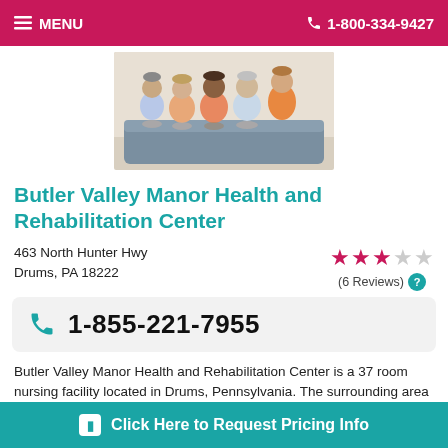MENU   1-800-334-9427
[Figure (photo): Group photo of five elderly people sitting and smiling together on a couch]
Butler Valley Manor Health and Rehabilitation Center
463 North Hunter Hwy
Drums, PA 18222
★★★☆☆ (6 Reviews)
1-855-221-7955
Butler Valley Manor Health and Rehabilitation Center is a 37 room nursing facility located in Drums, Pennsylvania. The surrounding area has an average population density,
Click Here to Request Pricing Info